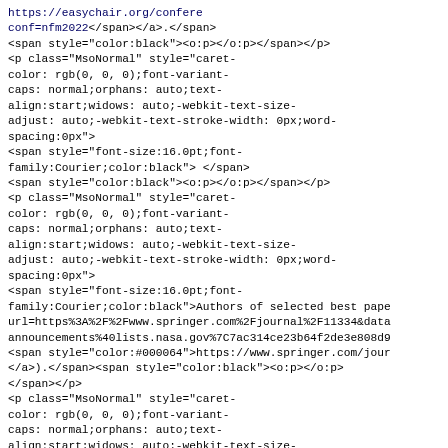<span style="color:#000064">https://easychair.org/confere conf=nfm2022</span></a>.</span>
<span style="color:black"><o:p></o:p></span></p>
<p class="MsoNormal" style="caret-color: rgb(0, 0, 0);font-variant-caps: normal;orphans: auto;text-align:start;widows: auto;-webkit-text-size-adjust: auto;-webkit-text-stroke-width: 0px;word-spacing:0px">
<span style="font-size:16.0pt;font-family:Courier;color:black"> </span>
<span style="color:black"><o:p></o:p></span></p>
<p class="MsoNormal" style="caret-color: rgb(0, 0, 0);font-variant-caps: normal;orphans: auto;text-align:start;widows: auto;-webkit-text-size-adjust: auto;-webkit-text-stroke-width: 0px;word-spacing:0px">
<span style="font-size:16.0pt;font-family:Courier;color:black">Authors of selected best pape url=https%3A%2F%2Fwww.springer.com%2Fjournal%2F11334&data: announcements%40lists.nasa.gov%7C7ac314ce23b64f2de3e808d9</span>
<span style="color:#000064">https://www.springer.com/jour </a>).</span><span style="color:black"><o:p></o:p>
</span></p>
<p class="MsoNormal" style="caret-color: rgb(0, 0, 0);font-variant-caps: normal;orphans: auto;text-align:start;widows: auto;-webkit-text-size-adjust: auto;-webkit-text-stroke-width: 0px;word-